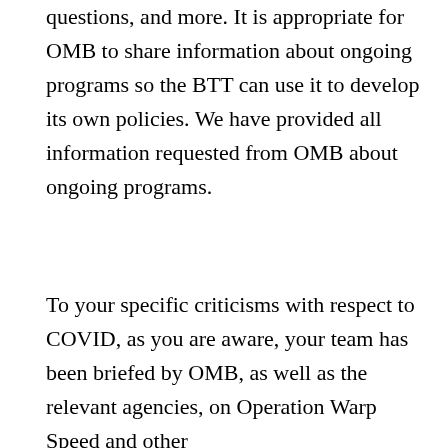questions, and more. It is appropriate for OMB to share information about ongoing programs so the BTT can use it to develop its own policies. We have provided all information requested from OMB about ongoing programs.
To your specific criticisms with respect to COVID, as you are aware, your team has been briefed by OMB, as well as the relevant agencies, on Operation Warp Speed and other
[Figure (photo): Two promotional advertisement images side by side below a divider line. Left: people walking in formal clothing (political figures), with a video play button overlay. Right: person sitting on a bed. Below each image is bold caption text. Left caption: 'Democrats Want This'. Right caption: 'How Your Body Warns'. There is a 'Promoted X' overlay label in the upper right area of the ad section.]